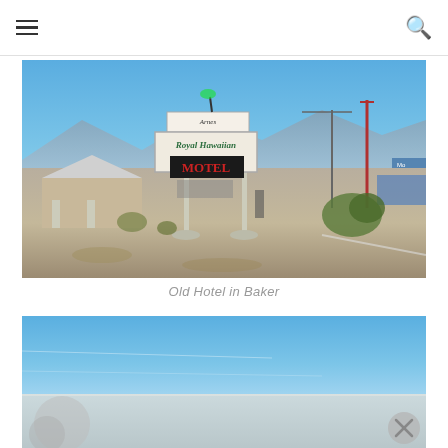Navigation header with hamburger menu and search icon
[Figure (photo): Photo of the Royal Hawaiian Motel sign (Arnes Royal Hawaiian Motel) in Baker, California. The large roadside sign shows 'Royal Hawaiian MOTEL' lettering. Behind it is a desert landscape with a blue sky, old motel buildings with a distinctive peaked roof, utility poles, dry brush and sparse vegetation. A road runs to the right with other businesses visible in the distance including a Mobil station.]
Old Hotel in Baker
[Figure (photo): Partial photo showing mostly blue sky with some ground/landscape visible at the bottom. An X/close button is visible in the lower right corner of the image.]